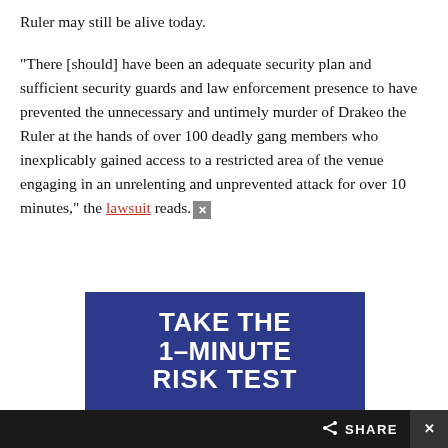Ruler may still be alive today.
“There [should] have been an adequate security plan and sufficient security guards and law enforcement presence to have prevented the unnecessary and untimely murder of Drakeo the Ruler at the hands of over 100 deadly gang members who inexplicably gained access to a restricted area of the venue engaging in an unrelenting and unprevented attack for over 10 minutes,” the lawsuit reads.
[Figure (infographic): Advertisement banner with dark blue background reading: TAKE THE 1-MINUTE RISK TEST]
SHARE